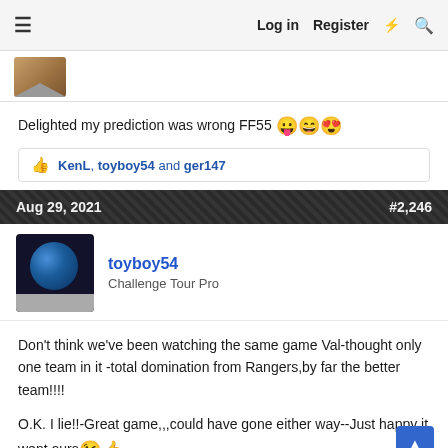≡  Log in  Register  ⚡  🔍
[Figure (photo): User avatar thumbnail, partially visible]
Delighted my prediction was wrong FF55 😛😄😍
👍 KenL, toyboy54 and ger147
Aug 29, 2021   #2,246
[Figure (photo): toyboy54 avatar - earth/moon image on dark background]
toyboy54
Challenge Tour Pro
Don't think we've been watching the same game Val-thought only one team in it -total domination from Rangers,by far the better team!!!!
O.K. I lie!!-Great game,,,could have gone either way--Just happy it went ours 😘👍
Aug 29, 2021   #2,247